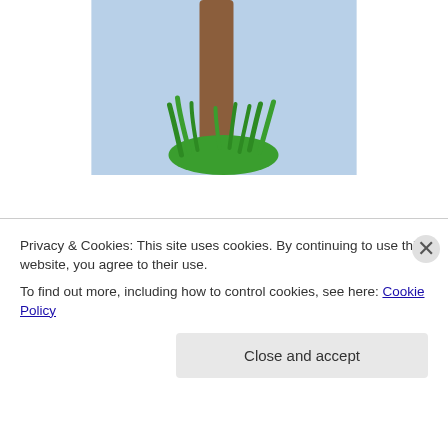[Figure (illustration): Illustration of a tree trunk with green grass at its base, set against a light blue background. Only the lower portion of the trunk and base are visible.]
When a rejection comes instead, she visualizes the acceptance even harder.
[Figure (illustration): A red rubber stamp image with the word REJECTED in large bold distressed letters, rotated approximately -15 degrees.]
Privacy & Cookies: This site uses cookies. By continuing to use this website, you agree to their use.
To find out more, including how to control cookies, see here: Cookie Policy
Close and accept